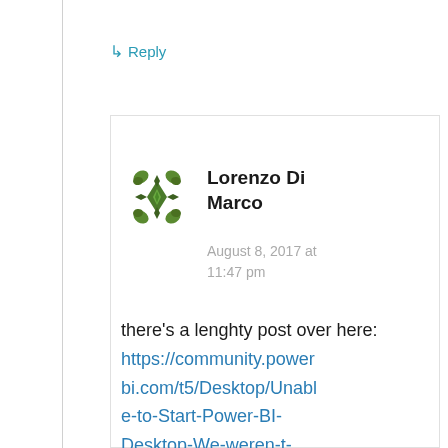↳ Reply
[Figure (illustration): Green geometric snowflake/mandala avatar icon for user Lorenzo Di Marco]
Lorenzo Di Marco
August 8, 2017 at 11:47 pm
there's a lenghty post over here: https://community.powerbi.com/t5/Desktop/Unable-to-Start-Power-BI-Desktop-We-weren-t-